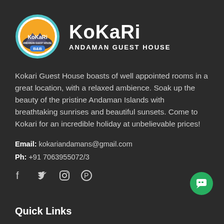[Figure (logo): Kokari Andaman Guest House logo: circular badge with KoKaRi text and B&B label, plus stylized KoKaRi text wordmark with 'ANDAMAN GUEST HOUSE' subtitle]
Kokari Guest House boasts of well appointed rooms in a great location, with a relaxed ambience. Soak up the beauty of the pristine Andaman Islands with breathtaking sunrises and beautiful sunsets. Come to Kokari for an incredible holiday at unbelievable prices!
Email: kokariandamans@gmail.com
Ph: +91 7063955072/3
[Figure (infographic): Social media icons row: Facebook, Twitter, Instagram, Pinterest]
[Figure (infographic): Green circular chat/message button in bottom right corner]
Quick Links